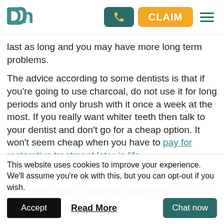DN | [phone button] | CLAIM | [menu]
last as long and you may have more long term problems.
The advice according to some dentists is that if you're going to use charcoal, do not use it for long periods and only brush with it once a week at the most. If you really want whiter teeth then talk to your dentist and don't go for a cheap option. It won't seem cheap when you have to pay for restorative treatment later in life.
Call us
If you have had a troubling experience with a dentist
This website uses cookies to improve your experience. We'll assume you're ok with this, but you can opt-out if you wish.
Accept  Read More  Chat now